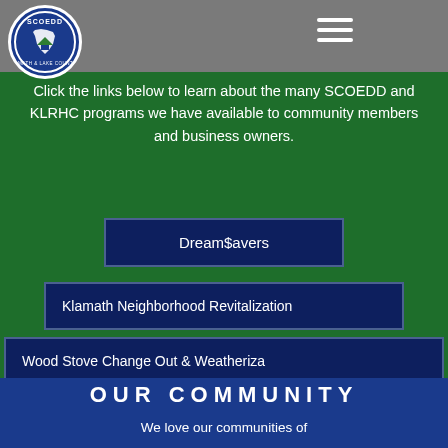[Figure (logo): SCOEDD Klamath & Lake Counties circular logo with Oregon state outline]
Click the links below to learn about the many SCOEDD and KLRHC programs we have available to community members and business owners.
Dream$avers
Klamath Neighborhood Revitalization
Wood Stove Change Out & Weatheriza
Klamath Food Brand
OUR COMMUNITY
We love our communities of